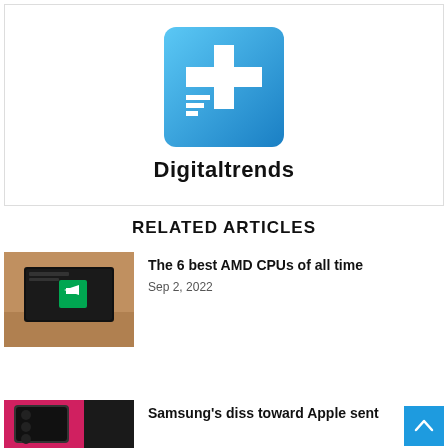[Figure (logo): Digitaltrends logo: blue gradient square with white plus/cross icon]
Digitaltrends
RELATED ARTICLES
[Figure (photo): AMD CPU box on wooden surface]
The 6 best AMD CPUs of all time
Sep 2, 2022
[Figure (photo): Samsung phone near Apple device on pink background]
Samsung's diss toward Apple sent